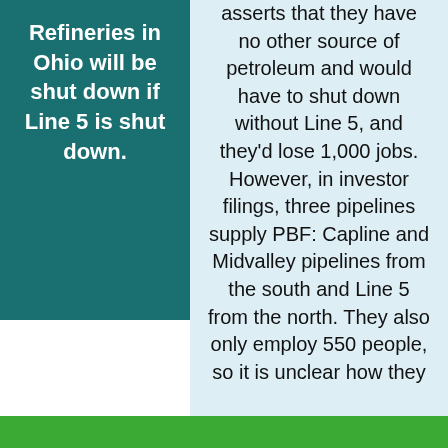Refineries in Ohio will be shut down if Line 5 is shut down.
asserts that they have no other source of petroleum and would have to shut down without Line 5, and they'd lose 1,000 jobs. However, in investor filings, three pipelines supply PBF: Capline and Midvalley pipelines from the south and Line 5 from the north. They also only employ 550 people, so it is unclear how they